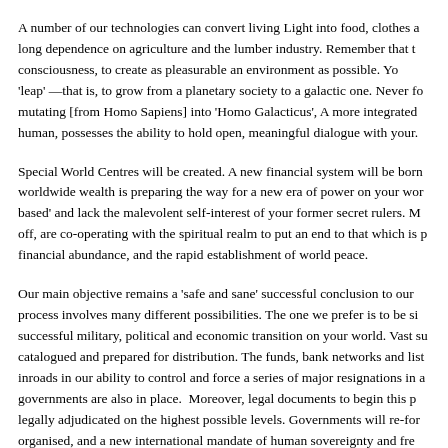A number of our technologies can convert living Light into food, clothes and long dependence on agriculture and the lumber industry. Remember that consciousness, to create as pleasurable an environment as possible. You 'leap' —that is, to grow from a planetary society to a galactic one. Never fo mutating [from Homo Sapiens] into 'Homo Galacticus', A more integrated human, possesses the ability to hold open, meaningful dialogue with your.
Special World Centres will be created. A new financial system will be born worldwide wealth is preparing the way for a new era of power on your wor based' and lack the malevolent self-interest of your former secret rulers. M off, are co-operating with the spiritual realm to put an end to that which is financial abundance, and the rapid establishment of world peace.
Our main objective remains a 'safe and sane' successful conclusion to our process involves many different possibilities. The one we prefer is to be si successful military, political and economic transition on your world. Vast su catalogued and prepared for distribution. The funds, bank networks and li inroads in our ability to control and force a series of major resignations in a governments are also in place. Moreover, legal documents to begin this p legally adjudicated on the highest possible levels. Governments will re-for organised, and a new international mandate of human sovereignty and fre seeking Multi-Nationals will be re-structured. New rules of conduct will be concept of 'Corporation' will be legally rendered. Large electrical power...